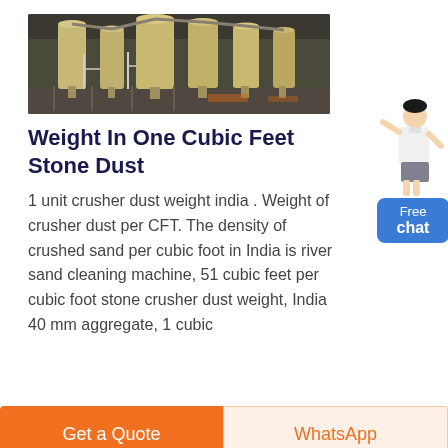[Figure (photo): Industrial machinery inside a warehouse — multiple large cylindrical silos/cyclone dust collectors and processing equipment on white metal frames]
Weight In One Cubic Feet Stone Dust
1 unit crusher dust weight india . Weight of crusher dust per CFT. The density of crushed sand per cubic foot in India is river sand cleaning machine, 51 cubic feet per cubic foot stone crusher dust weight, India 40 mm aggregate, 1 cubic
[Figure (illustration): Female customer service avatar in white shirt pointing, with blue Free chat button]
Get a Quote
WhatsApp